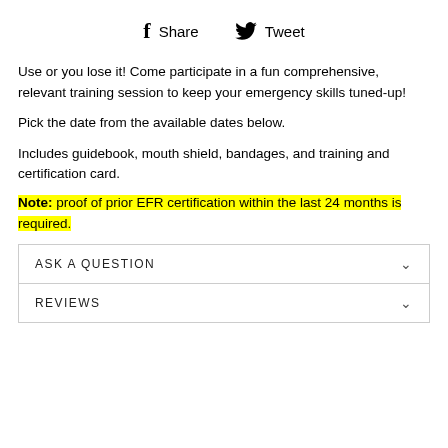Share  Tweet
Use or you lose it!  Come participate in a fun comprehensive, relevant training session to keep your emergency skills tuned-up!
Pick the date from the available dates below.
Includes guidebook, mouth shield, bandages, and training and certification card.
Note: proof of prior EFR certification within the last 24 months is required.
ASK A QUESTION
REVIEWS